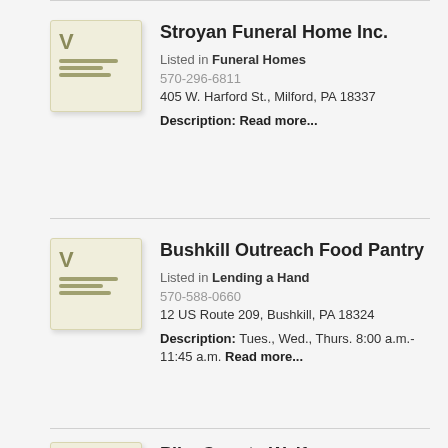Stroyan Funeral Home Inc. Listed in Funeral Homes 570-296-6811 405 W. Harford St., Milford, PA 18337 Description: Read more...
Bushkill Outreach Food Pantry Listed in Lending a Hand 570-588-0660 12 US Route 209, Bushkill, PA 18324 Description: Tues., Wed., Thurs. 8:00 a.m.- 11:45 a.m. Read more...
Pike County Welfare Information